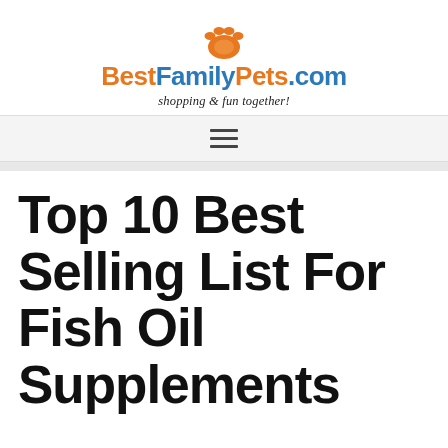[Figure (logo): BestFamilyPets.com logo with orange paw print above the text. 'Best' and 'Pets.com' in orange, 'Family' in blue, bold. Tagline: shopping & fun together!]
Top 10 Best Selling List For Fish Oil Supplements